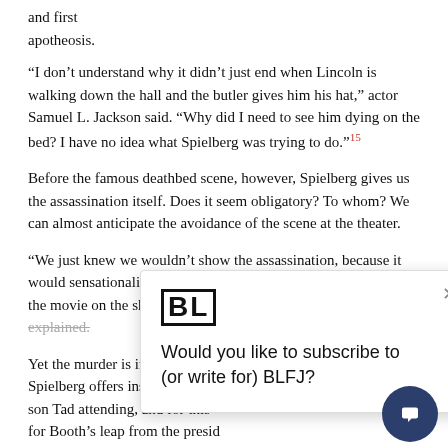and first apotheosis.
“I don’t understand why it didn’t just end when Lincoln is walking down the hall and the butler gives him his hat,” actor Samuel L. Jackson said. “Why did I need to see him dying on the bed? I have no idea what Spielberg was trying to do.”¹⁵
Before the famous deathbed scene, however, Spielberg gives us the assassination itself. Does it seem obligatory? To whom? We can almost anticipate the avoidance of the scene at the theater.
“We just knew we wouldn’t show the assassination, because it would sensationalize the story. It would have suddenly focused the movie on the shooter, not the president,” the director explained.
Yet the murder is inextricably b… Spielberg offers instead anothe… son Tad attending, and for this … for Booth’s leap from the presid… drawn to the shooter by his absence.
[Figure (screenshot): Popup overlay with BLFJ logo and subscription prompt: 'Would you like to subscribe to (or write for) BLFJ?' with close button]
Still, as Jackson notes, there is, if one is attempting to meet expe… third ending, the deathbed scene: “Now he belongs to the ages.” B… scene is so rushed, so perfunctory, because obligatory, because it’s only